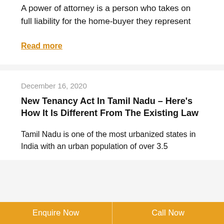A power of attorney is a person who takes on full liability for the home-buyer they represent
Read more
December 16, 2020
New Tenancy Act In Tamil Nadu – Here's How It Is Different From The Existing Law
Tamil Nadu is one of the most urbanized states in India with an urban population of over 3.5
Enquire Now | Call Now